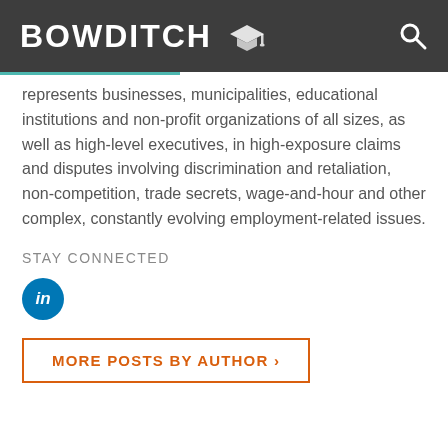BOWDITCH
represents businesses, municipalities, educational institutions and non-profit organizations of all sizes, as well as high-level executives, in high-exposure claims and disputes involving discrimination and retaliation, non-competition, trade secrets, wage-and-hour and other complex, constantly evolving employment-related issues.
STAY CONNECTED
[Figure (logo): LinkedIn icon — blue circle with white italic 'in' text]
MORE POSTS BY AUTHOR ›